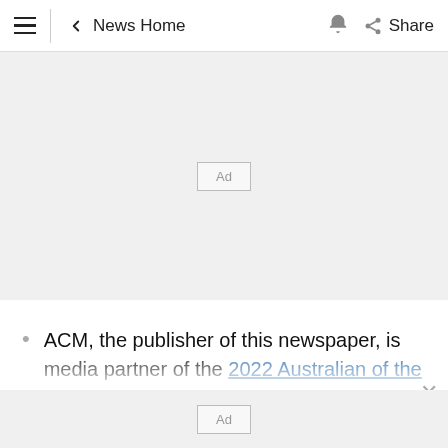≡  ← News Home  🔔  Share
[Figure (other): Advertisement placeholder box labeled 'Ad' on a light grey background]
ACM, the publisher of this newspaper, is media partner of the 2022 Australian of the Year Awards, which will be presented in Canberra on January 25 and telecast on ABC TV from 7.30pm...
[Figure (other): Advertisement placeholder box labeled 'Ad' on a light grey background at the bottom of the page]